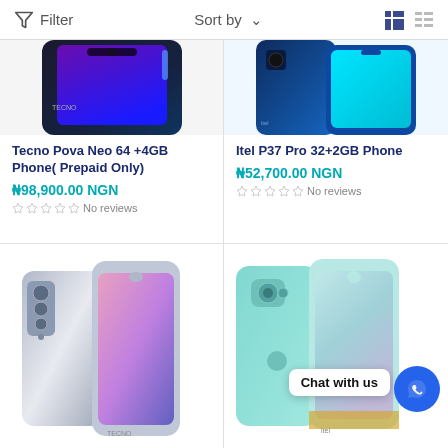Filter  Sort by  [grid view] [list view]
[Figure (photo): Partial top view of Tecno Pova Neo 64+4GB smartphone in dark color]
Tecno Pova Neo 64 +4GB Phone( Prepaid Only)
₦98,900.00 NGN
No reviews
[Figure (photo): Partial top view of Itel P37 Pro 32+2GB smartphone in blue/teal color]
Itel P37 Pro 32+2GB Phone
₦52,700.00 NGN
No reviews
[Figure (photo): Tecno smartphone front and back view in silver/pink gradient color]
[Figure (photo): Itel smartphone front and back view in mint/teal color with Chat with us WhatsApp button]
Chat with us